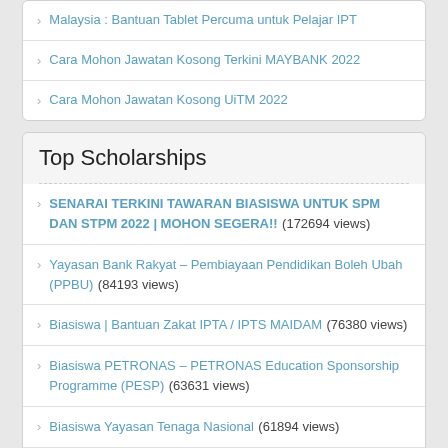Malaysia : Bantuan Tablet Percuma untuk Pelajar IPT
Cara Mohon Jawatan Kosong Terkini MAYBANK 2022
Cara Mohon Jawatan Kosong UiTM 2022
Top Scholarships
SENARAI TERKINI TAWARAN BIASISWA UNTUK SPM DAN STPM 2022 | MOHON SEGERA!! (172694 views)
Yayasan Bank Rakyat – Pembiayaan Pendidikan Boleh Ubah (PPBU) (84193 views)
Biasiswa | Bantuan Zakat IPTA / IPTS MAIDAM (76380 views)
Biasiswa PETRONAS – PETRONAS Education Sponsorship Programme (PESP) (63631 views)
Biasiswa Yayasan Tenaga Nasional (61894 views)
MARA – Young Talent Davelopment Programme – YTP (59514 views)